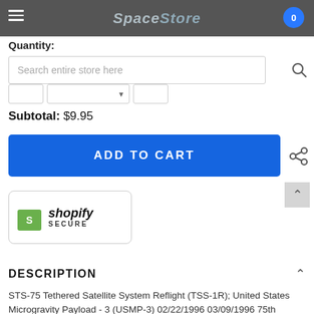SpaceStore
Quantity:
Search entire store here
Subtotal: $9.95
ADD TO CART
[Figure (logo): Shopify Secure badge with green shopping bag icon and text 'shopify SECURE']
DESCRIPTION
STS-75 Tethered Satellite System Reflight (TSS-1R); United States Microgravity Payload - 3 (USMP-3) 02/22/1996 03/09/1996 75th